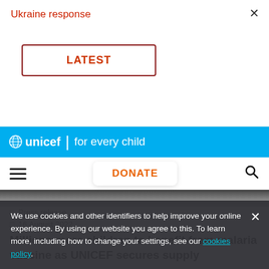Ukraine response
LATEST
[Figure (screenshot): UNICEF 'for every child' logo on cyan/blue header bar]
DONATE
[Figure (photo): Dark photo strip at top of article area]
Press release
16 August 2022
Millions more children to benefit from malaria vaccine as UNICEF secures supply
We use cookies and other identifiers to help improve your online experience. By using our website you agree to this. To learn more, including how to change your settings, see our cookies policy.